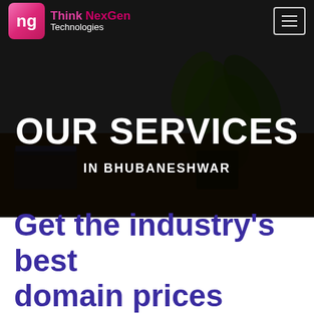[Figure (screenshot): Think NexGen Technologies company logo with stylized 'ng' icon in pink/magenta gradient square]
Think NexGen Technologies
OUR SERVICES
IN BHUBANESHWAR
Get the industry's best domain prices